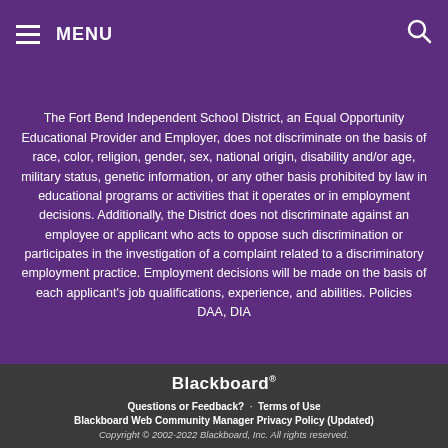MENU
The Fort Bend Independent School District, an Equal Opportunity Educational Provider and Employer, does not discriminate on the basis of race, color, religion, gender, sex, national origin, disability and/or age, military status, genetic information, or any other basis prohibited by law in educational programs or activities that it operates or in employment decisions. Additionally, the District does not discriminate against an employee or applicant who acts to oppose such discrimination or participates in the investigation of a complaint related to a discriminatory employment practice. Employment decisions will be made on the basis of each applicant's job qualifications, experience, and abilities. Policies DAA, DIA
Blackboard
Questions or Feedback?  ·  Terms of Use
Blackboard Web Community Manager Privacy Policy (Updated)
Copyright © 2002-2022 Blackboard, Inc. All rights reserved.